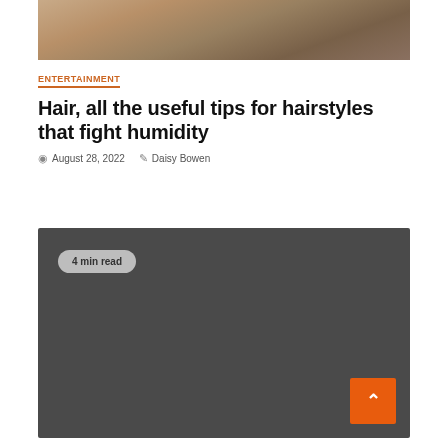[Figure (photo): Woman with hair pulled up, viewed from behind/side, partial crop showing back of head and shoulders]
ENTERTAINMENT
Hair, all the useful tips for hairstyles that fight humidity
August 28, 2022   Daisy Bowen
[Figure (other): Dark gray rectangle with '4 min read' badge and orange scroll-to-top button]
4 min read